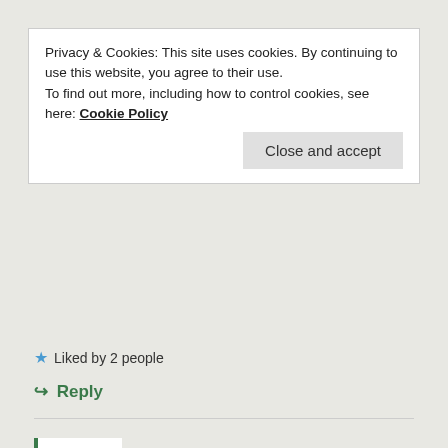Privacy & Cookies: This site uses cookies. By continuing to use this website, you agree to their use. To find out more, including how to control cookies, see here: Cookie Policy
Close and accept
Liked by 2 people
Reply
EARLYRETIREMENTNOW.COM
September 18, 2019 at 5:53 pm
Yeah, no more return like that. So, these 6% return “trend lines” are only for illustration! 🙂
Like
Reply